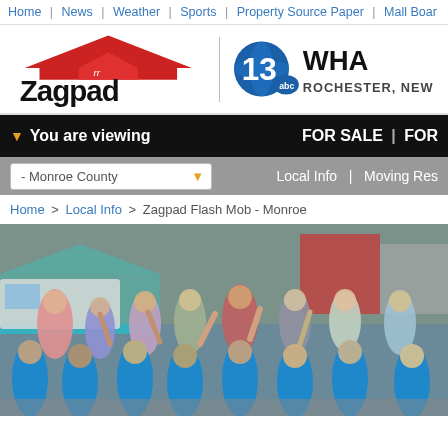Home | News | Weather | Sports | Property Source Paper | Mall Board
[Figure (logo): Zagpad logo with red roof icon and 13 ABC WHEC Rochester New York TV station logo side by side]
▼ You are viewing   FOR SALE |FOR RENT
- Monroe County   Local Info | Moving Resources
Home > Local Info > Zagpad Flash Mob - Monroe
[Figure (photo): Outdoor event photo showing a crowd of children in blue t-shirts and adults at what appears to be a flash mob or outdoor event, with tents and storefronts in the background]